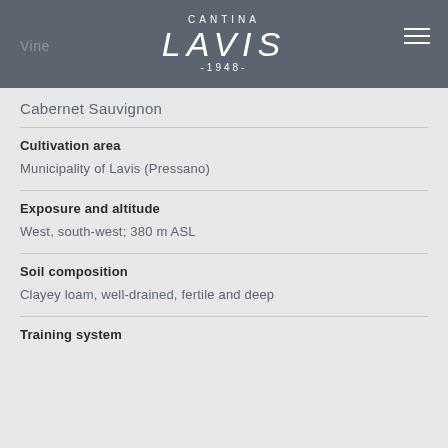CANTINA LAVIS -1948-
Vine
Cabernet Sauvignon
Cultivation area
Municipality of Lavis (Pressano)
Exposure and altitude
West, south-west; 380 m ASL
Soil composition
Clayey loam, well-drained, fertile and deep
Training system